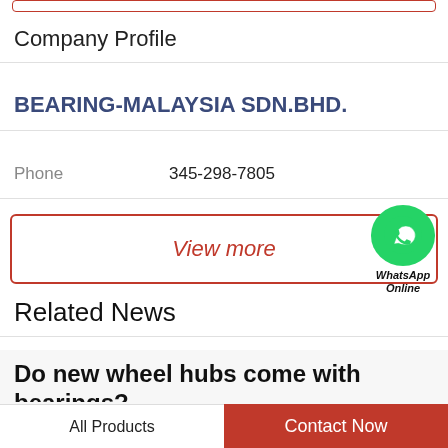Company Profile
BEARING-MALAYSIA SDN.BHD.
Phone	345-298-7805
View more
[Figure (logo): WhatsApp green circle icon with phone handset, labeled WhatsApp Online]
Related News
Do new wheel hubs come with bearings?
Hub Assemblies: Frequently Asked Questions - Know Your PartsCan I Replace the Bearings or Seals in My
All Products
Contact Now